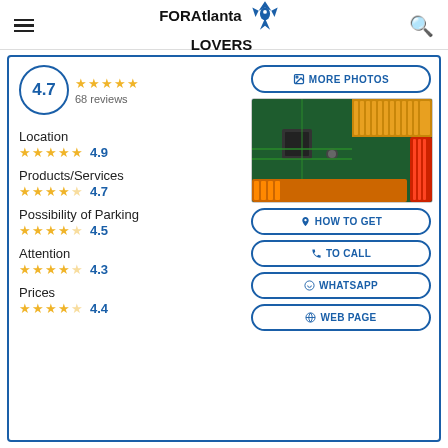FOR Atlanta LOVERS
[Figure (screenshot): Business listing card showing rating 4.7 with 68 reviews, category ratings for Location (4.9), Products/Services (4.7), Possibility of Parking (4.5), Attention (4.3), Prices (4.4), a photo of a computer motherboard, and action buttons: MORE PHOTOS, HOW TO GET, TO CALL, WHATSAPP, WEB PAGE]